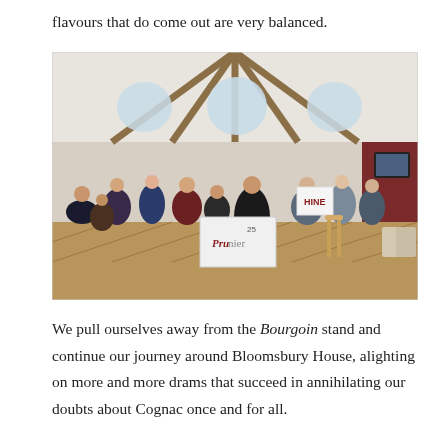flavours that do come out are very balanced.
[Figure (photo): A crowded indoor tasting event at Bloomsbury House. Visitors mill around various brand stands including a Hine cognac stand and a Prunier stand. The venue has high ceilings with exposed wooden beams and arched windows letting in natural light. A herringbone-pattern wooden floor is visible.]
We pull ourselves away from the Bourgoin stand and continue our journey around Bloomsbury House, alighting on more and more drams that succeed in annihilating our doubts about Cognac once and for all.